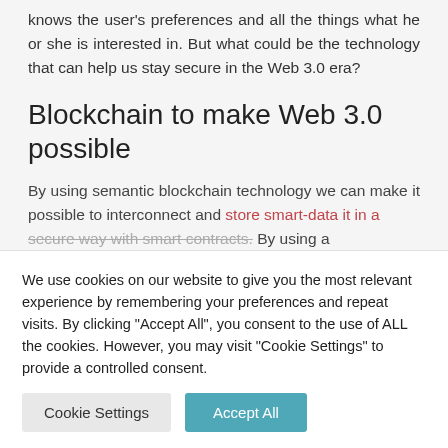knows the user's preferences and all the things what he or she is interested in. But what could be the technology that can help us stay secure in the Web 3.0 era?
Blockchain to make Web 3.0 possible
By using semantic blockchain technology we can make it possible to interconnect and store smart-data it in a secure way with smart contracts. By using a
We use cookies on our website to give you the most relevant experience by remembering your preferences and repeat visits. By clicking "Accept All", you consent to the use of ALL the cookies. However, you may visit "Cookie Settings" to provide a controlled consent.